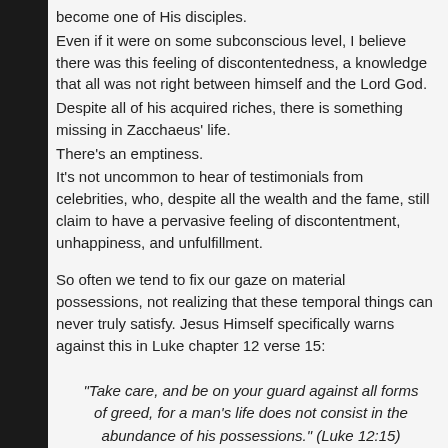become one of His disciples.
Even if it were on some subconscious level, I believe there was this feeling of discontentedness, a knowledge that all was not right between himself and the Lord God.
Despite all of his acquired riches, there is something missing in Zacchaeus' life.
There's an emptiness.
It's not uncommon to hear of testimonials from celebrities, who, despite all the wealth and the fame, still claim to have a pervasive feeling of discontentment, unhappiness, and unfulfillment.
So often we tend to fix our gaze on material possessions, not realizing that these temporal things can never truly satisfy. Jesus Himself specifically warns against this in Luke chapter 12 verse 15:
“Take care, and be on your guard against all forms of greed, for a man's life does not consist in the abundance of his possessions.” (Luke 12:15)